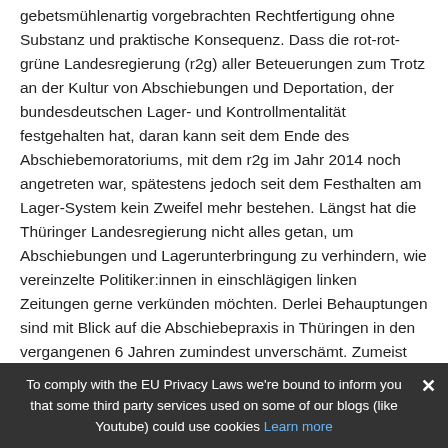gebetsmühlenartig vorgebrachten Rechtfertigung ohne Substanz und praktische Konsequenz. Dass die rot-rot-grüne Landesregierung (r2g) aller Beteuerungen zum Trotz an der Kultur von Abschiebungen und Deportation, der bundesdeutschen Lager- und Kontrollmentalität festgehalten hat, daran kann seit dem Ende des Abschiebemoratoriums, mit dem r2g im Jahr 2014 noch angetreten war, spätestens jedoch seit dem Festhalten am Lager-System kein Zweifel mehr bestehen. Längst hat die Thüringer Landesregierung nicht alles getan, um Abschiebungen und Lagerunterbringung zu verhindern, wie vereinzelte Politiker:innen in einschlägigen linken Zeitungen gerne verkünden möchten. Derlei Behauptungen sind mit Blick auf die Abschiebepraxis in Thüringen in den vergangenen 6 Jahren zumindest unverschämt. Zumeist sind progressive Konzepte, wie es beispielsweise in Teilen das „Thüringer Integrationskonzept" [8] beschreibt, längst im Taumel des
To comply with the EU Privacy Laws we're bound to inform you that some third party services used on some of our blogs (like Youtube) could use cookies Learn more